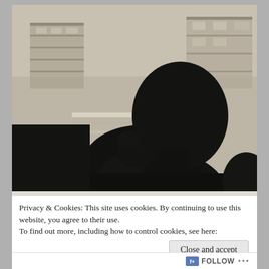[Figure (photo): Black and white high-contrast photograph showing the silhouette of a person with their head bowed and hand raised to their face, with an urban building visible in the background through a window, grainy texture throughout.]
Privacy & Cookies: This site uses cookies. By continuing to use this website, you agree to their use.
To find out more, including how to control cookies, see here:
Cookie Policy
Close and accept
FOLLOW ...